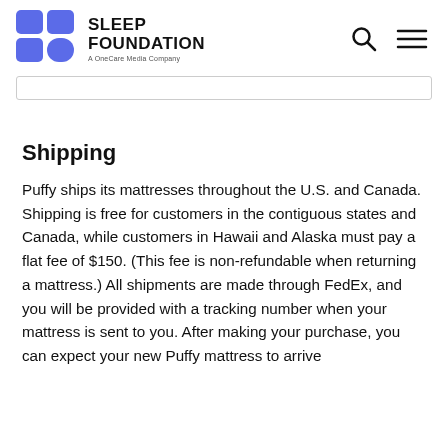SLEEP FOUNDATION — A OneCare Media Company
Shipping
Puffy ships its mattresses throughout the U.S. and Canada. Shipping is free for customers in the contiguous states and Canada, while customers in Hawaii and Alaska must pay a flat fee of $150. (This fee is non-refundable when returning a mattress.) All shipments are made through FedEx, and you will be provided with a tracking number when your mattress is sent to you. After making your purchase, you can expect your new Puffy mattress to arrive